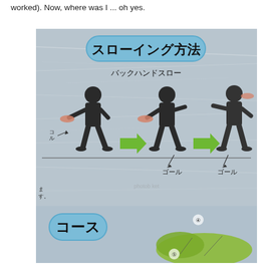worked). Now, where was I … oh yes.
[Figure (illustration): Japanese disc golf or frisbee throwing instruction diagram showing three silhouetted figures demonstrating backhand throw technique (バックハンドスロー) with green arrows indicating direction, goal markers, and a course map at the bottom. Title badge reads スローイング方法 (throwing method). Bottom section shows コース (course) badge with a green terrain map.]